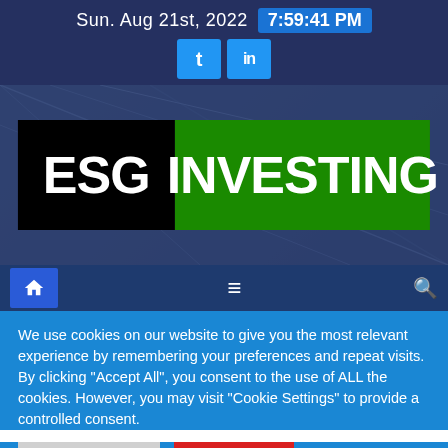Sun. Aug 21st, 2022  7:59:41 PM
[Figure (logo): ESG Investing logo with black background for 'ESG' and green background for 'INVESTING', overlaid on a glass building photo]
[Figure (screenshot): Navigation bar with home icon, hamburger menu, and search icon on dark blue background]
We use cookies on our website to give you the most relevant experience by remembering your preferences and repeat visits. By clicking "Accept All", you consent to the use of ALL the cookies. However, you may visit "Cookie Settings" to provide a controlled consent.
Cookie Settings
Accept All